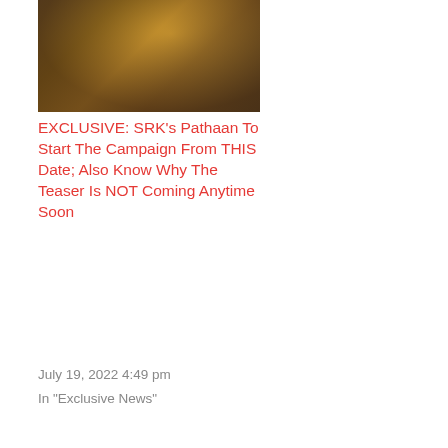[Figure (photo): Movie promotional still showing a bearded man in dark, moody cinematic lighting with warm golden tones]
EXCLUSIVE: SRK's Pathaan To Start The Campaign From THIS Date; Also Know Why The Teaser Is NOT Coming Anytime Soon
July 19, 2022 4:49 pm
In "Exclusive News"